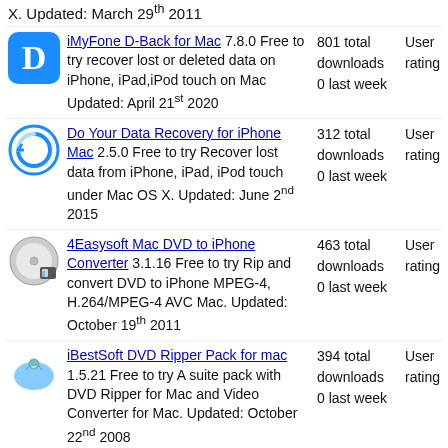X. Updated: March 29th 2011
iMyFone D-Back for Mac 7.8.0 Free to try recover lost or deleted data on iPhone, iPad,iPod touch on Mac Updated: April 21st 2020 | 801 total downloads | 0 last week | User rating
Do Your Data Recovery for iPhone Mac 2.5.0 Free to try Recover lost data from iPhone, iPad, iPod touch under Mac OS X. Updated: June 2nd 2015 | 312 total downloads | 0 last week | User rating
4Easysoft Mac DVD to iPhone Converter 3.1.16 Free to try Rip and convert DVD to iPhone MPEG-4, H.264/MPEG-4 AVC Mac. Updated: October 19th 2011 | 463 total downloads | 0 last week | User rating
iBestSoft DVD Ripper Pack for mac 1.5.21 Free to try A suite pack with DVD Ripper for Mac and Video Converter for Mac. Updated: October 22nd 2008 | 394 total downloads | 0 last week | User rating